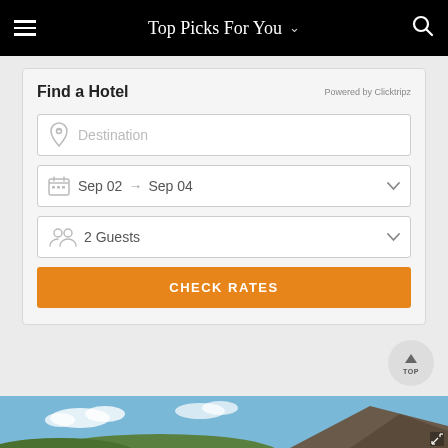Top Picks For You
Find a Hotel
Powered by Clicktripz
Destination
Sep 02 → Sep 04
2 Guests
CHECK RATES
[Figure (photo): Mountain landscape with blue sky and clouds at the bottom of the page]